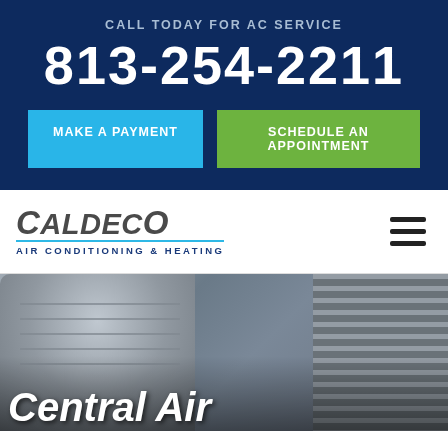CALL TODAY FOR AC SERVICE
813-254-2211
MAKE A PAYMENT
SCHEDULE AN APPOINTMENT
[Figure (logo): Caldeco Air Conditioning & Heating company logo with stylized text]
[Figure (photo): Outdoor AC/HVAC units photographed from exterior of building]
Central Air